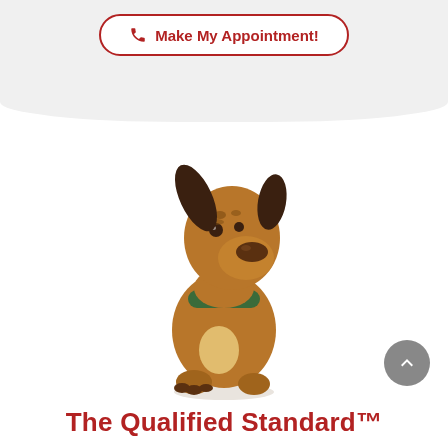[Figure (screenshot): Button with phone icon and text 'Make My Appointment!' styled with red border and rounded corners on grey background]
[Figure (illustration): Cartoon illustrated dog (brown, sitting, looking up to the right, wearing a green collar) mascot illustration]
[Figure (illustration): Grey circular scroll-to-top button with upward chevron arrow]
The Qualified Standard™